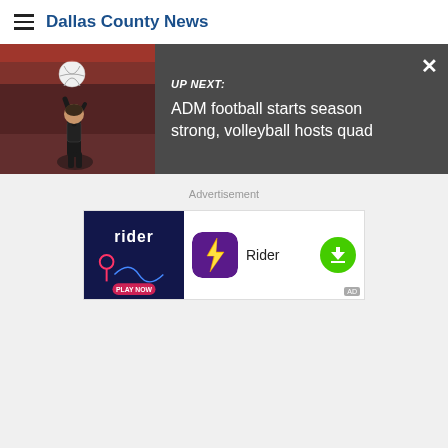Dallas County News
[Figure (screenshot): UP NEXT banner with volleyball action photo on left and headline text: UP NEXT: ADM football starts season strong, volleyball hosts quad, with close X button]
Advertisement
[Figure (screenshot): Rider game app advertisement banner with dark blue left panel showing PLAY NOW, app icon, app name Rider, and green download button, with AD tag]